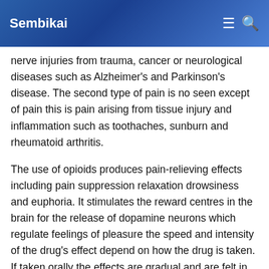Sembikai
nerve injuries from trauma, cancer or neurological diseases such as Alzheimer's and Parkinson's disease. The second type of pain is no seen except of pain this is pain arising from tissue injury and inflammation such as toothaches, sunburn and rheumatoid arthritis.
The use of opioids produces pain-relieving effects including pain suppression relaxation drowsiness and euphoria. It stimulates the reward centres in the brain for the release of dopamine neurons which regulate feelings of pleasure the speed and intensity of the drug's effect depend on how the drug is taken. If taken orally the effects are gradual and are felt in about 10 to 20 minutes.